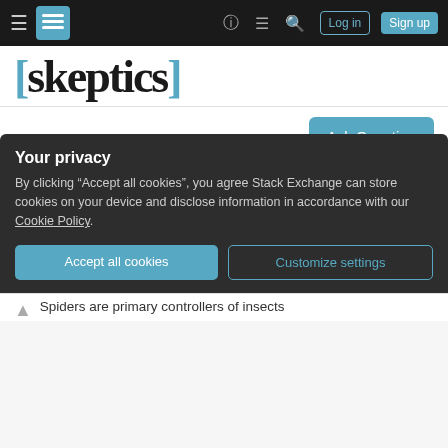Stack Exchange Skeptics navigation bar with hamburger menu, logo, help, chat, search icons, Log in and Sign up buttons
[skeptics]
Ask Question
Would humans starve if spiders disappeared?
Asked 8 years, 1 month ago   Modified 6 years, 3 months ago   Viewed 5k times
In this Washington Post article, Norman Platnick of
Your privacy
By clicking "Accept all cookies", you agree Stack Exchange can store cookies on your device and disclose information in accordance with our Cookie Policy.
Accept all cookies   Customize settings
Spiders are primary controllers of insects